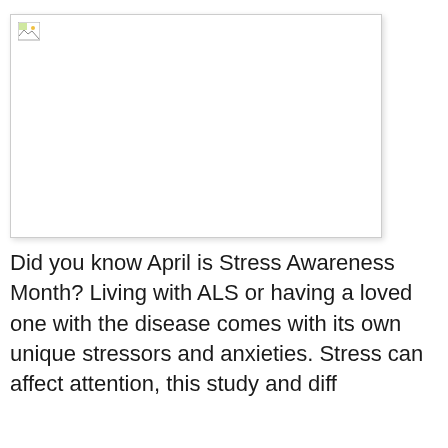[Figure (photo): Broken/missing image placeholder with a small image icon in the top-left corner]
Did you know April is Stress Awareness Month? Living with ALS or having a loved one with the disease comes with its own unique stressors and anxieties. Stress can affect attention, this study and diff...